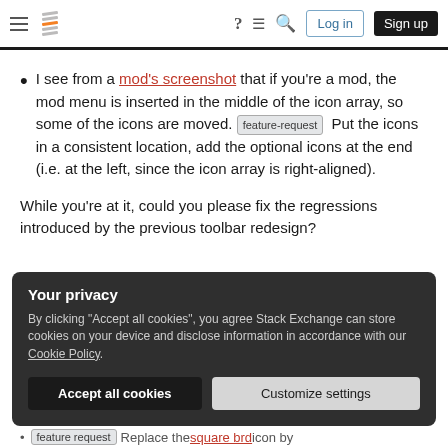Stack Exchange navigation bar with hamburger menu, logo, help icon, chat icon, search icon, Log in and Sign up buttons
I see from a mod's screenshot that if you're a mod, the mod menu is inserted in the middle of the icon array, so some of the icons are moved. [feature-request] Put the icons in a consistent location, add the optional icons at the end (i.e. at the left, since the icon array is right-aligned).
While you're at it, could you please fix the regressions introduced by the previous toolbar redesign?
Your privacy
By clicking "Accept all cookies", you agree Stack Exchange can store cookies on your device and disclose information in accordance with our Cookie Policy.
Accept all cookies   Customize settings
[feature request] Replace the square brd icon by